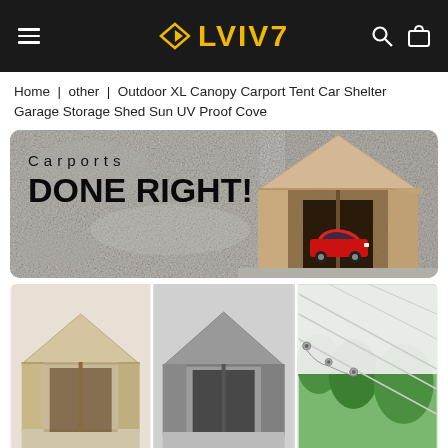[Figure (screenshot): LVIV7 e-commerce website header with hamburger menu, gold diamond logo, search and cart icons on black background]
Home | other | Outdoor XL Canopy Carport Tent Car Shelter Garage Storage Shed Sun UV Proof Cove
[Figure (photo): Banner image showing a beige carport/garage with a red sports car parked inside. Text overlay reads 'Carports DONE RIGHT!' on a concrete texture background.]
[Figure (photo): Three product thumbnail images: beige carport tent, gray carport tent, and a close-up of white canopy ceiling with lights and green trees visible.]